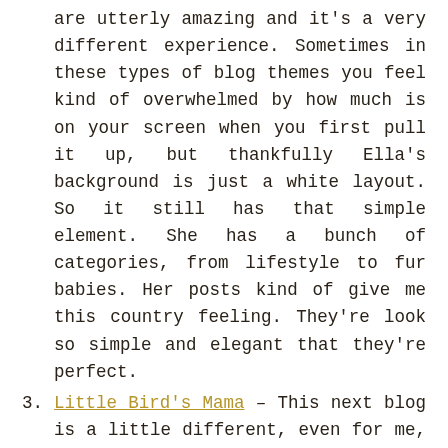are utterly amazing and it's a very different experience. Sometimes in these types of blog themes you feel kind of overwhelmed by how much is on your screen when you first pull it up, but thankfully Ella's background is just a white layout. So it still has that simple element. She has a bunch of categories, from lifestyle to fur babies. Her posts kind of give me this country feeling. They're look so simple and elegant that they're perfect.
3. Little Bird's Mama – This next blog is a little different, even for me, but I really like the quality and cuteness of the blog. Neram is the blogger behind Little Bird's Mama. She lives in Amsterdam, The Netherlands. Her son Thiago is the inspiration behind the blog. She talks about her new life as a mother, living in Amsterdam, talks about fashion, and living green. Which was another draw to her blog. I find the whole